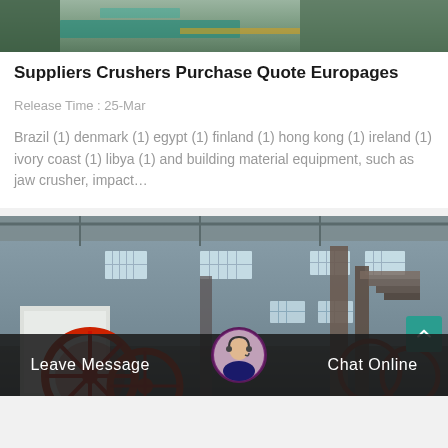[Figure (photo): Top portion of a photo showing green and teal coloured material, partially cropped]
Suppliers Crushers Purchase Quote Europages
Release Time : 25-Mar
Brazil (1) denmark (1) egypt (1) finland (1) hong kong (1) ireland (1) ivory coast (1) libya (1) and building material equipment, such as jaw crusher, impact…
[Figure (photo): Interior of an industrial factory/warehouse with machinery, red wheels visible on crusher equipment, windows in background]
Leave Message
Chat Online